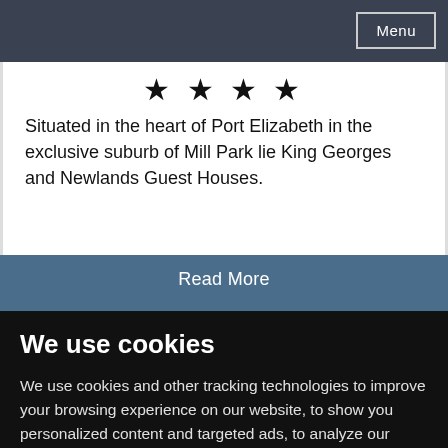Menu
[Figure (other): Four black star icons representing a 4-star rating]
Situated in the heart of Port Elizabeth in the exclusive suburb of Mill Park lie King Georges and Newlands Guest Houses.
Read More
We use cookies
We use cookies and other tracking technologies to improve your browsing experience on our website, to show you personalized content and targeted ads, to analyze our website traffic, and to understand where our visitors are coming from.